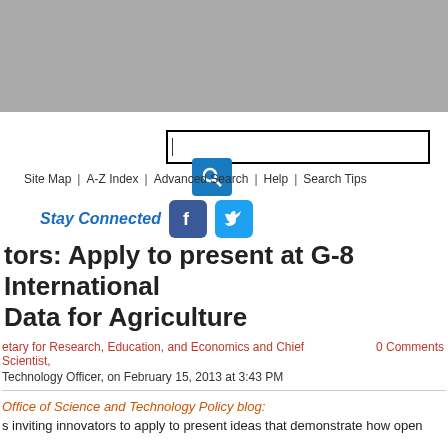[Figure (photo): Gray banner image at top of USDA website page]
[Figure (screenshot): Website header with search box, search button, navigation links (Site Map, A-Z Index, Advanced Search, Help, Search Tips), Stay Connected text with Facebook and Twitter social media icons]
tors: Apply to present at G-8 International Data for Agriculture
etary for Research, Education, and Economics and Chief Scientist,    0 Comments
Technology Officer, on February 15, 2013 at 3:43 PM
Office of Science and Technology Policy blog:
s inviting innovators to apply to present ideas that demonstrate how open